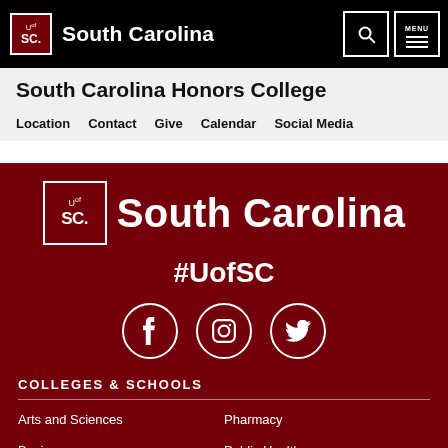South Carolina
South Carolina Honors College
Location  Contact  Give  Calendar  Social Media
[Figure (logo): University of South Carolina logo with UofSC text and South Carolina wordmark on garnet background, with #UofSC hashtag and Facebook, Instagram, Twitter social media icons]
COLLEGES & SCHOOLS
Arts and Sciences
Pharmacy
Business
Public Health
Education
Social Work